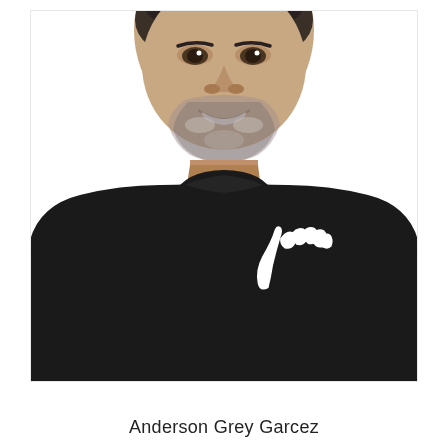[Figure (photo): Headshot/portrait photo of a middle-aged man with short dark hair and salt-and-pepper beard, smiling, wearing a black t-shirt with a white stylized bare foot logo on the left chest. White background.]
Anderson Grey Garcez